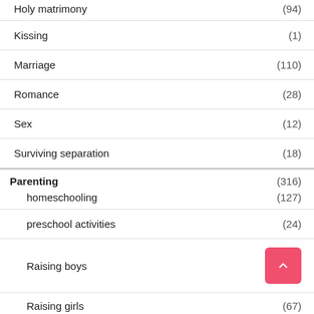Holy matrimony (94)
Kissing (1)
Marriage (110)
Romance (28)
Sex (12)
Surviving separation (18)
Parenting (316)
homeschooling (127)
preschool activities (24)
Raising boys
Raising girls (67)